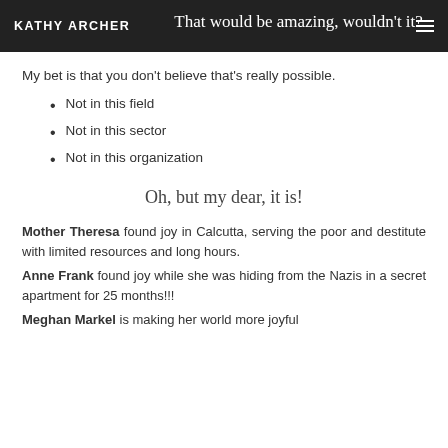KATHY ARCHER | That would be amazing, wouldn't it?
My bet is that you don't believe that's really possible.
Not in this field
Not in this sector
Not in this organization
Oh, but my dear, it is!
Mother Theresa found joy in Calcutta, serving the poor and destitute with limited resources and long hours.
Anne Frank found joy while she was hiding from the Nazis in a secret apartment for 25 months!!!
Meghan Markel is making her world more joyful